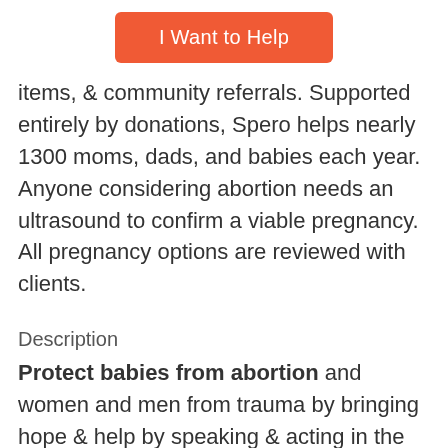[Figure (other): Orange button labeled 'I Want to Help']
items, & community referrals. Supported entirely by donations, Spero helps nearly 1300 moms, dads, and babies each year. Anyone considering abortion needs an ultrasound to confirm a viable pregnancy. All pregnancy options are reviewed with clients.
Description
Protect babies from abortion and women and men from trauma by bringing hope & help by speaking & acting in the name of Jesus Christ on behalf of those who cannot do it for themselves until we end abortion or Jesus comes. Won't you join us?